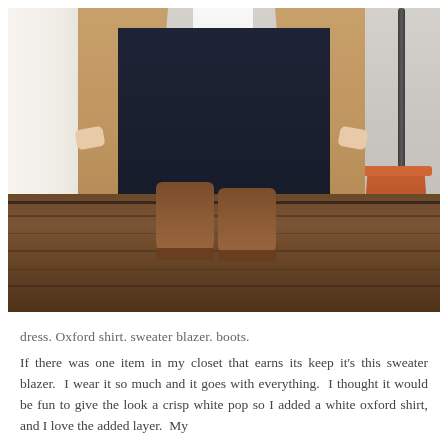[Figure (photo): A person wearing a navy slip dress, camel sweater blazer vest, white Oxford shirt showing at the neckline as a bow/tie, and brown leather ankle boots. Standing on dark hardwood floors. A white curtain is visible on the left, a terracotta plant pot and dark metal rack on the right. Background wall is light gray.]
dress. Oxford shirt. sweater blazer. boots.
If there was one item in my closet that earns its keep it's this sweater blazer.  I wear it so much and it goes with everything.  I thought it would be fun to give the look a crisp white pop so I added a white oxford shirt, and I love the added layer.  My